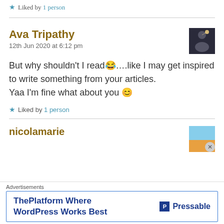★ Liked by 1 person
Ava Tripathy
12th Jun 2020 at 6:12 pm
[Figure (photo): Avatar photo for Ava Tripathy showing a person silhouette against a lit background]
But why shouldn't I read😂….like I may get inspired to write something from your articles.
Yaa I'm fine what about you 😊
★ Liked by 1 person
nicolamarie
[Figure (photo): Avatar photo for nicolamarie showing a sky gradient from blue to orange]
Advertisements
ThePlatform Where WordPress Works Best — Pressable